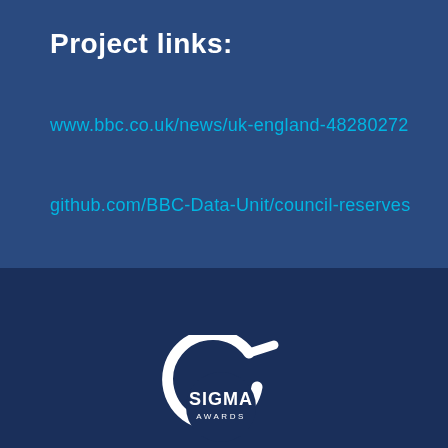Project links:
www.bbc.co.uk/news/uk-england-48280272
github.com/BBC-Data-Unit/council-reserves
[Figure (logo): Sigma Awards logo — a circular ring with a stylized sigma tail forming an arrow, with 'SIGMA AWARDS' text in white inside the circle]